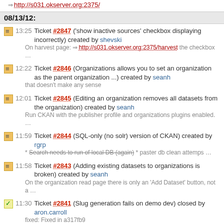by shevski ⇒ http://s031.okserver.org:2375/
08/13/12:
13:25 Ticket #2847 ('show inactive sources' checkbox displaying incorrectly) created by shevski
On harvest page: ⇒ http://s031.okserver.org:2375/harvest the checkbox …
12:22 Ticket #2846 (Organizations allows you to set an organization as the parent organization ...) created by seanh
that doesn't make any sense
12:01 Ticket #2845 (Editing an organization removes all datasets from the organization) created by seanh
Run CKAN with the publisher profile and organizations plugins enabled. …
11:59 Ticket #2844 (SQL-only (no solr) version of CKAN) created by rgrp
* Search needs to run of local DB (again) * paster db clean attemps …
11:58 Ticket #2843 (Adding existing datasets to organizations is broken) created by seanh
On the organization read page there is only an 'Add Dataset' button, not a …
11:30 Ticket #2841 (Slug generation fails on demo dev) closed by aron.carroll
fixed: Fixed in a317fb9
11:04 Ticket #2842 (Allow sort ordering of dataset listings on group